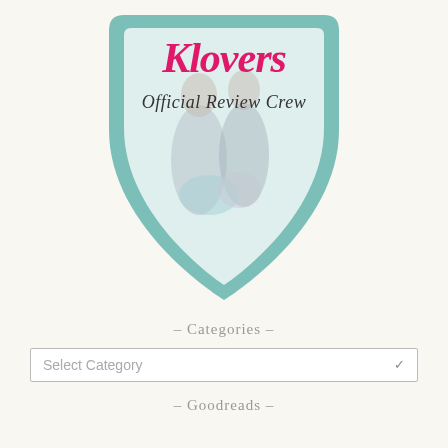[Figure (logo): Klovers Official Review Crew badge/shield logo with teal border, pink cursive 'Klovers' text, dark italic 'Official Review Crew' text, and a couple embracing in the background]
- Categories -
Select Category
- Goodreads -